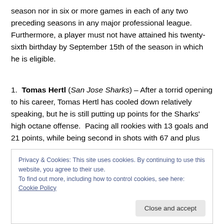season nor in six or more games in each of any two preceding seasons in any major professional league. Furthermore, a player must not have attained his twenty-sixth birthday by September 15th of the season in which he is eligible.
1.  Tomas Hertl (San Jose Sharks) – After a torrid opening to his career, Tomas Hertl has cooled down relatively speaking, but he is still putting up points for the Sharks' high octane offense.  Pacing all rookies with 13 goals and 21 points, while being second in shots with 67 and plus
Privacy & Cookies: This site uses cookies. By continuing to use this website, you agree to their use.
To find out more, including how to control cookies, see here: Cookie Policy